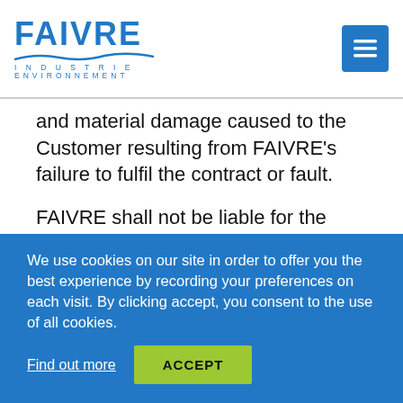[Figure (logo): FAIVRE Industrie Environnement logo with blue text and wave graphic]
and material damage caused to the Customer resulting from FAIVRE's failure to fulfil the contract or fault.
FAIVRE shall not be liable for the compensation of non-material and/or consequential damage such as: business interruption, loss of profit, loss of opportunity, shutdown, market injury, loss of earnings, damage to
We use cookies on our site in order to offer you the best experience by recording your preferences on each visit. By clicking accept, you consent to the use of all cookies.
Find out more
ACCEPT